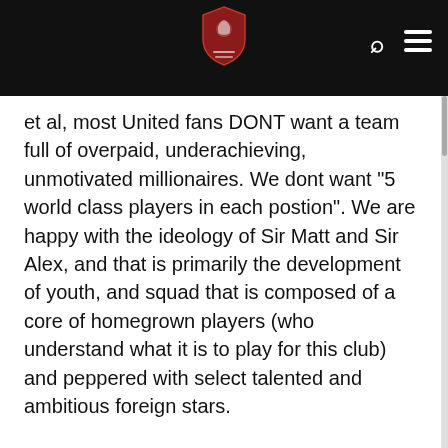[Figure (logo): Red/dark shield logo with fist emblem and text, centered in black navigation bar]
et al, most United fans DONT want a team full of overpaid, underachieving, unmotivated millionaires. We dont want "5 world class players in each postion". We are happy with the ideology of Sir Matt and Sir Alex, and that is primarily the development of youth, and squad that is composed of a core of homegrown players (who understand what it is to play for this club) and peppered with select talented and ambitious foreign stars.
In contrast to a few fools who bleat their paranoid agenda here, I believe in Fergie. If he says we dont need Ozil and Khedira, then we dont need them. Period. Whatever his instincts might be with regard to MUST or